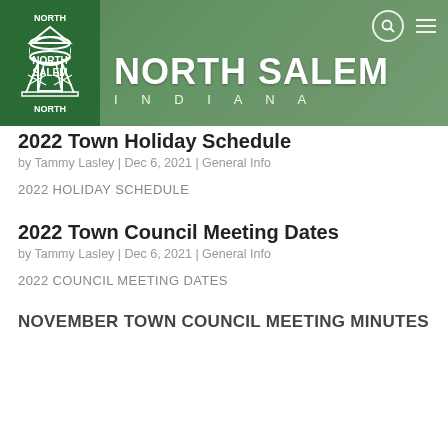[Figure (logo): North Salem Indiana website header banner with water tower logo on dark green left panel and NORTH SALEM INDIANA text on green tinted background with barn scene]
2022 Town Holiday Schedule
by Tammy Lasley | Dec 6, 2021 | General Info
2022 HOLIDAY SCHEDULE
2022 Town Council Meeting Dates
by Tammy Lasley | Dec 6, 2021 | General Info
2022 COUNCIL MEETING DATES
NOVEMBER TOWN COUNCIL MEETING MINUTES